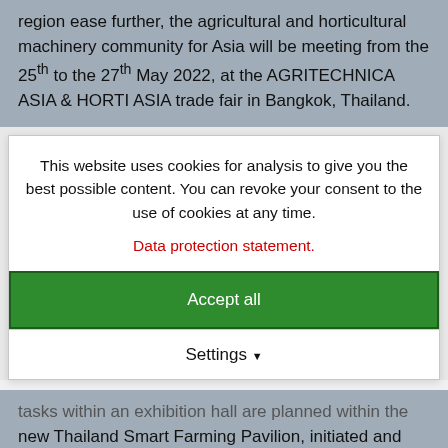region ease further, the agricultural and horticultural machinery community for Asia will be meeting from the 25th to the 27th May 2022, at the AGRITECHNICA ASIA & HORTI ASIA trade fair in Bangkok, Thailand.
This website uses cookies for analysis to give you the best possible content. You can revoke your consent to the use of cookies at any time.
Data protection statement.
Accept all
Settings
tasks within an exhibition hall are planned within the new Thailand Smart Farming Pavilion, initiated and hosted by the Thai Ministry of Agriculture and Cooperatives (MOAC). The trade fair is taking place at BITEC exhibition grounds in Bangkok and features a